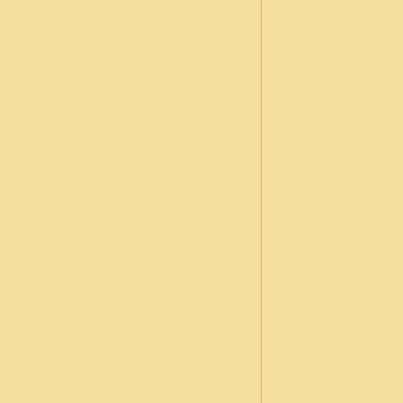Posted by Solomon
No comments:
Dirt Bike K